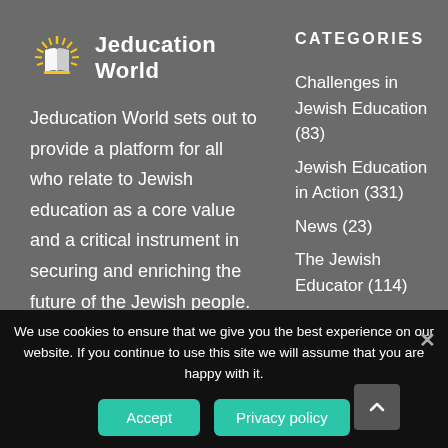[Figure (logo): Jeducation World logo with stylized book/sunburst icon and site name text]
Jeducation World sets out to provide a platform for all who relate to Jewish education as a core value and a critical instrument in securing and enriching the future of the Jewish people.
CATEGORIES
Challenges in Jewish Education (83)
Jewish Education in Action (331)
News (23)
The Jewish Educator (114)
We use cookies to ensure that we give you the best experience on our website. If you continue to use this site we will assume that you are happy with it.